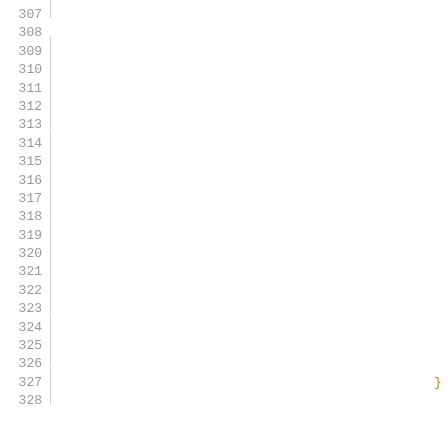307
308  leaf co
309
310
311
312
313
314
315
316
317
318
319
320
321
322
323
324
325
326
327  }
328